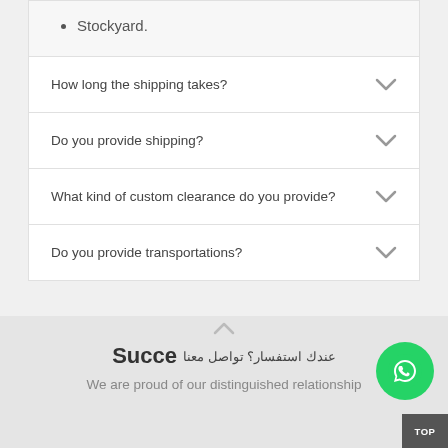Stockyard.
How long the shipping takes?
Do you provide shipping?
What kind of custom clearance do you provide?
Do you provide transportations?
عندك استفسار؟ تواصل معنا
Succe…
We are proud of our distinguished relationship